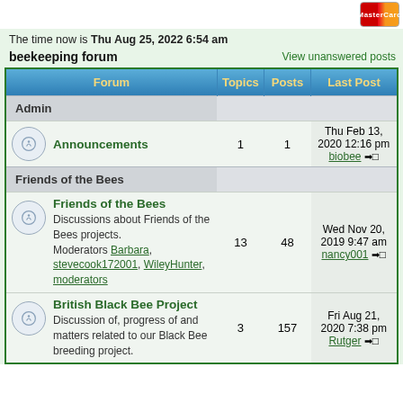The time now is Thu Aug 25, 2022 6:54 am
beekeeping forum
View unanswered posts
| Forum | Topics | Posts | Last Post |
| --- | --- | --- | --- |
| Admin |  |  |  |
| Announcements | 1 | 1 | Thu Feb 13, 2020 12:16 pm biobee → |
| Friends of the Bees |  |  |  |
| Friends of the Bees — Discussions about Friends of the Bees projects. Moderators Barbara, stevecook172001, WileyHunter, moderators | 13 | 48 | Wed Nov 20, 2019 9:47 am nancy001 → |
| British Black Bee Project — Discussion of, progress of and matters related to our Black Bee breeding project. | 3 | 157 | Fri Aug 21, 2020 7:38 pm Rutger → |